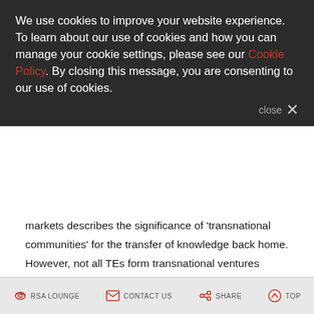We use cookies to improve your website experience. To learn about our use of cookies and how you can manage your cookie settings, please see our Cookie Policy. By closing this message, you are consenting to our use of cookies.
close ×
markets describes the significance of 'transnational communities' for the transfer of knowledge back home. However, not all TEs form transnational ventures (TNVs) from the position of being based in the host country; they can also do so from being based in the home country (Drori et al., 2009) which can then influence or create new forms of cross-border institutional governance.
Theme 4: Reforming Institutions
RSA LOUNGE   CONTACT US   SHARE   TOP